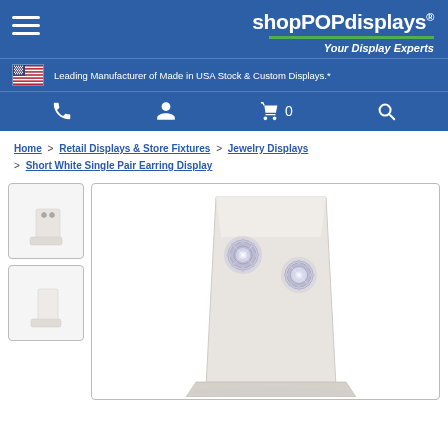shopPOPdisplays® Your Display Experts
Leading Manufacturer of Made in USA Stock & Custom Displays.*
Home > Retail Displays & Store Fixtures > Jewelry Displays > Short White Single Pair Earring Display
[Figure (photo): Thumbnail 1: Small white earring display stand with two small stud earrings, white leatherette L-shaped stand]
[Figure (photo): Thumbnail 2: Small white earring display stand, empty, white leatherette L-shaped stand viewed from angle]
[Figure (photo): Main product image: White leatherette single pair earring display stand showing two large crystal/rhinestone stud earrings mounted on the display]